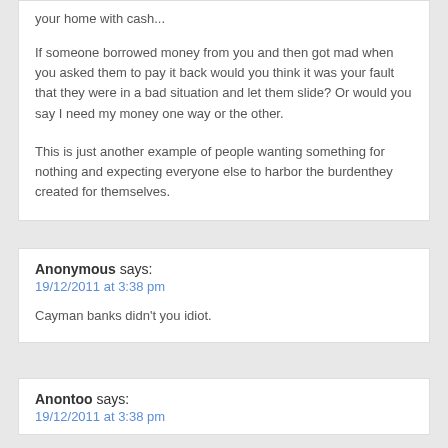your home with cash...
If someone borrowed money from you and then got mad when you asked them to pay it back would you think it was your fault that they were in a bad situation and let them slide? Or would you say I need my money one way or the other.
This is just another example of people wanting something for nothing and expecting everyone else to harbor the burdenthey created for themselves.
Anonymous says:
19/12/2011 at 3:38 pm
Cayman banks didn't you idiot.
Anontoo says:
19/12/2011 at 3:38 pm